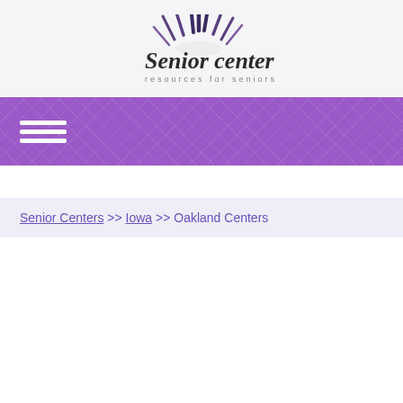[Figure (logo): Senior center logo with sunburst rays above the text 'Senior center' in bold and 'resources for seniors' in spaced letters below]
[Figure (other): Purple navigation bar with hamburger menu icon (three horizontal white lines) on the left, with a diamond/quilted pattern texture]
Senior Centers >> Iowa >> Oakland Centers